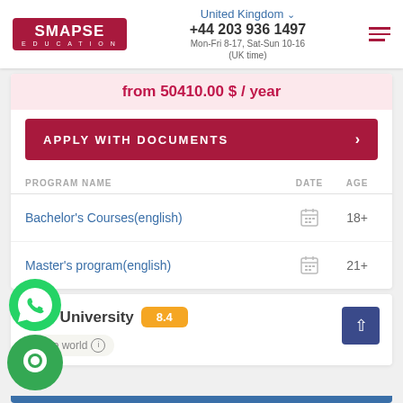[Figure (logo): SMAPSE EDUCATION logo in dark red/maroon box]
United Kingdom
+44 203 936 1497
Mon-Fri 8-17, Sat-Sun 10-16 (UK time)
from 50410.00 $ / year
APPLY WITH DOCUMENTS
| PROGRAM NAME | DATE | AGE |
| --- | --- | --- |
| Bachelor's Courses(english) |  | 18+ |
| Master's program(english) |  | 21+ |
[Figure (illustration): WhatsApp green circular icon]
eton University
8.4
in the world
[Figure (illustration): Green circular chat bubble icon]